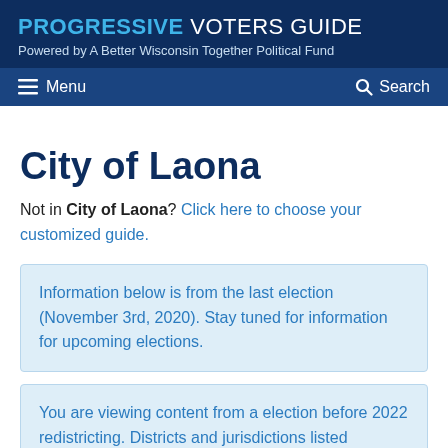PROGRESSIVE VOTERS GUIDE
Powered by A Better Wisconsin Together Political Fund
Menu  Search
City of Laona
Not in City of Laona? Click here to choose your customized guide.
Information below is from the last election (November 3rd, 2020). Stay tuned for information for upcoming elections.
You are viewing content from a election before 2022 redistricting. Districts and jurisdictions listed